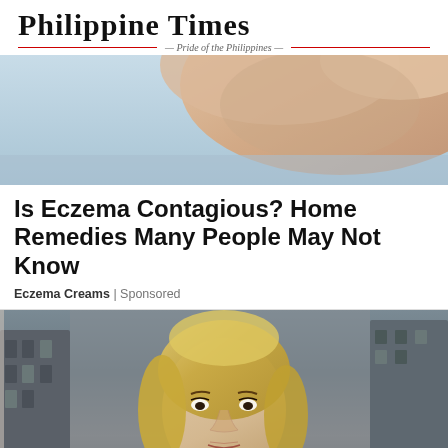PHILIPPINE TIMES — Pride of the Philippines
[Figure (photo): Close-up photo of skin, showing a hand or arm against a blurred background, top portion of an eczema-related article image]
Is Eczema Contagious? Home Remedies Many People May Not Know
Eczema Creams | Sponsored
[Figure (photo): Photo of a middle-aged blonde woman with a serious expression, standing outdoors in front of urban buildings, wearing a grey blazer and light blue shirt]